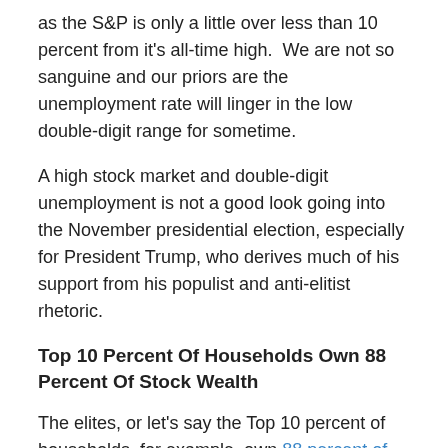as the S&P is only a little over less than 10 percent from it's all-time high.  We are not so sanguine and our priors are the unemployment rate will linger in the low double-digit range for sometime.
A high stock market and double-digit unemployment is not a good look going into the November presidential election, especially for President Trump, who derives much of his support from his populist and anti-elitist rhetoric.
Top 10 Percent Of Households Own 88 Percent Of Stock Wealth
The elites, or let's say the Top 10 percent of households, for example, own 88 percent of stock market wealth.  See our post,  Why The Stock Bull Is A Big Meh For Most Americans.